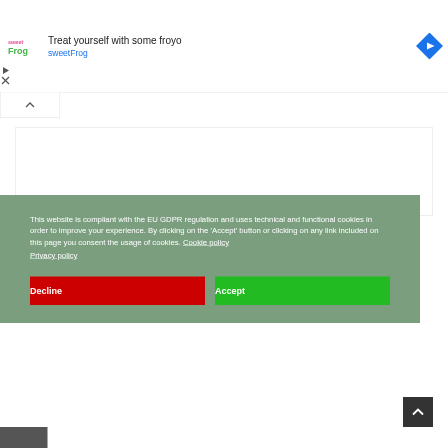[Figure (screenshot): sweetFrog ad banner with logo, 'Treat yourself with some froyo' headline, and navigation icon]
This website is compliant with the EU GDPR regulation and uses technical and functional cookies in order to improve your experience. By clicking on the 'Accept' button or clicking on any link included on this page you consent the usage of cookies. Cookie policy
Privacy policy
Decline
Accept
Our favourites roads